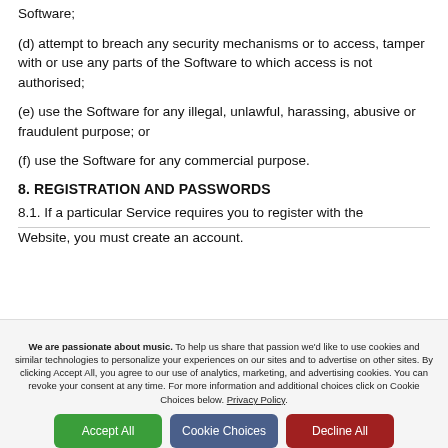Software;
(d) attempt to breach any security mechanisms or to access, tamper with or use any parts of the Software to which access is not authorised;
(e) use the Software for any illegal, unlawful, harassing, abusive or fraudulent purpose; or
(f) use the Software for any commercial purpose.
8. REGISTRATION AND PASSWORDS
8.1. If a particular Service requires you to register with the
We are passionate about music. To help us share that passion we'd like to use cookies and similar technologies to personalize your experiences on our sites and to advertise on other sites. By clicking Accept All, you agree to our use of analytics, marketing, and advertising cookies. You can revoke your consent at any time. For more information and additional choices click on Cookie Choices below. Privacy Policy.